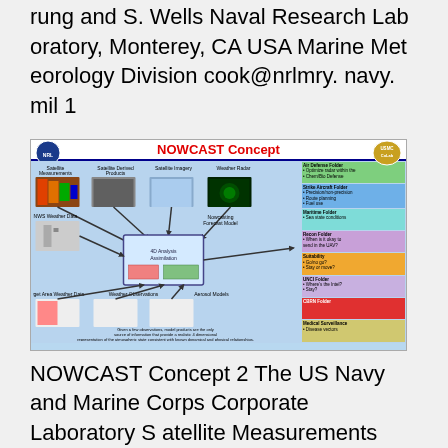rung and S. Wells Naval Research Laboratory, Monterey, CA USA Marine Meteorology Division cook@nrlmry. navy.mil 1
[Figure (infographic): NOWCAST Concept diagram showing satellite measurements, satellite derived products, satellite imagery, weather radar, nowcasting forecast model, and various military application folders on the right side (Air Defense, Chem/Bio Defense, Strike Aircraft, GALE Folder, UNCI Folder) with colored boxes. Bottom text states: Given a few observations, model products are the only source of information that provide a realistic 4 dimensional representation of the atmospheric state consistent with known dynamical and physical relationships.]
NOWCAST Concept 2 The US Navy and Marine Corps Corporate Laboratory Satellite Measurements Satellite Derived Products Satellite Imagery Weather Radar Air Defense Folder • Optimize radar settings • Chem/Bio Defense Strike Aircraft Folder • Precision/non-precision